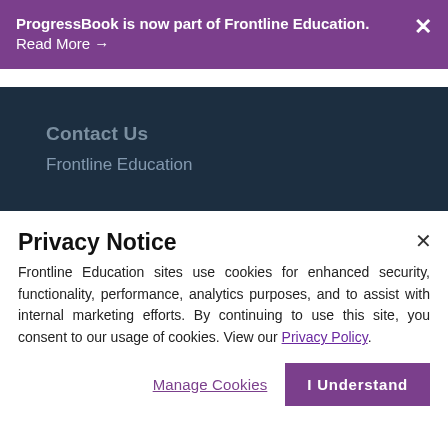ProgressBook is now part of Frontline Education. Read More →
Contact Us
Frontline Education
Privacy Notice
Frontline Education sites use cookies for enhanced security, functionality, performance, analytics purposes, and to assist with internal marketing efforts. By continuing to use this site, you consent to our usage of cookies. View our Privacy Policy.
Manage Cookies
I Understand